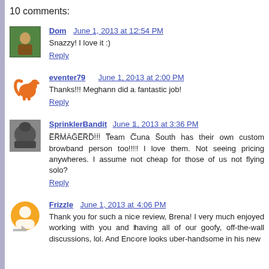10 comments:
Dom  June 1, 2013 at 12:54 PM
Snazzy! I love it :)
Reply
eventer79  June 1, 2013 at 2:00 PM
Thanks!!! Meghann did a fantastic job!
Reply
SprinklerBandit  June 1, 2013 at 3:36 PM
ERMAGERD!!! Team Cuna South has their own custom browband person too!!!!  I love them. Not seeing pricing anywheres. I assume not cheap for those of us not flying solo?
Reply
Frizzle  June 1, 2013 at 4:06 PM
Thank you for such a nice review, Brena! I very much enjoyed working with you and having all of our goofy, off-the-wall discussions, lol. And Encore looks uber-handsome in his new